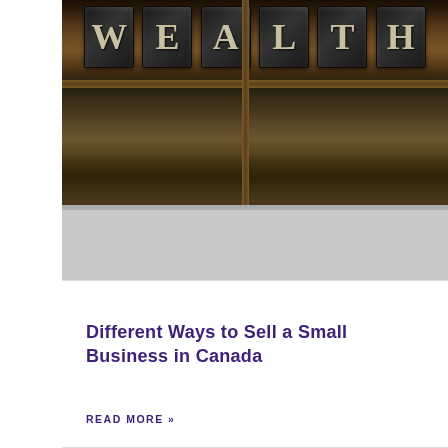[Figure (photo): Wooden letterpress type tray with individual letter blocks spelling WEALTH in metallic/dark letters, with wooden grid dividers. Lower portion transitions to grey gradient.]
Different Ways to Sell a Small Business in Canada
READ MORE »